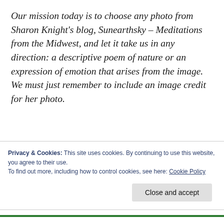Our mission today is to choose any photo from Sharon Knight's blog, Sunearthsky – Meditations from the Midwest, and let it take us in any direction: a descriptive poem of nature or an expression of emotion that arises from the image. We must just remember to include an image credit for her photo.
As I know very little about the American Midwest, I found the photos both enlightening and enthralling, and it was hard to choose one as inspiration for a
Privacy & Cookies: This site uses cookies. By continuing to use this website, you agree to their use.
To find out more, including how to control cookies, see here: Cookie Policy
Close and accept